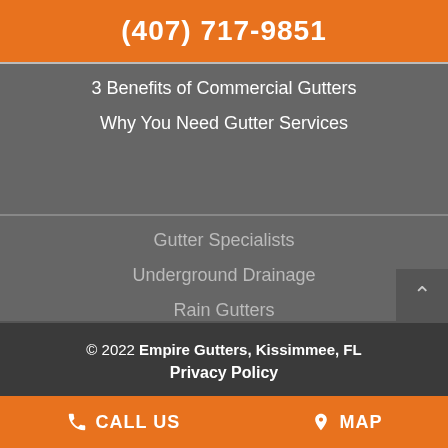(407) 717-9851
3 Benefits of Commercial Gutters
Why You Need Gutter Services
Gutter Specialists
Underground Drainage
Rain Gutters
© 2022 Empire Gutters, Kissimmee, FL
Privacy Policy
CALL US   MAP